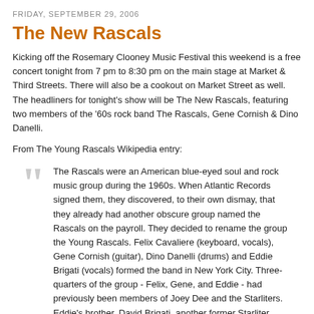FRIDAY, SEPTEMBER 29, 2006
The New Rascals
Kicking off the Rosemary Clooney Music Festival this weekend is a free concert tonight from 7 pm to 8:30 pm on the main stage at Market & Third Streets. There will also be a cookout on Market Street as well. The headliners for tonight's show will be The New Rascals, featuring two members of the '60s rock band The Rascals, Gene Cornish & Dino Danelli.
From The Young Rascals Wikipedia entry:
The Rascals were an American blue-eyed soul and rock music group during the 1960s. When Atlantic Records signed them, they discovered, to their own dismay, that they already had another obscure group named the Rascals on the payroll. They decided to rename the group the Young Rascals. Felix Cavaliere (keyboard, vocals), Gene Cornish (guitar), Dino Danelli (drums) and Eddie Brigati (vocals) formed the band in New York City. Three-quarters of the group - Felix, Gene, and Eddie - had previously been members of Joey Dee and the Starliters. Eddie's brother, David Brigati, another former Starliter, arranged the vocal harmonies and sang backgrounds on many of the group's recordings, informally earning the designation as the Fifth Rascal.